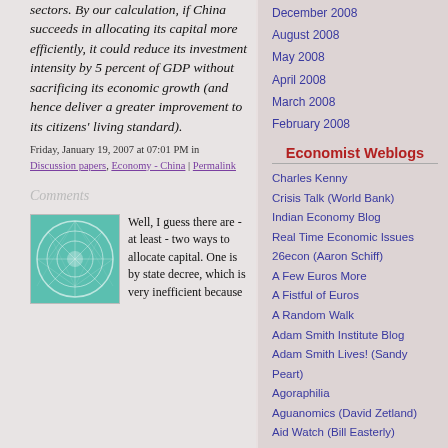sectors. By our calculation, if China succeeds in allocating its capital more efficiently, it could reduce its investment intensity by 5 percent of GDP without sacrificing its economic growth (and hence deliver a greater improvement to its citizens' living standard).
Friday, January 19, 2007 at 07:01 PM in Discussion papers, Economy - China | Permalink
Comments
[Figure (illustration): Avatar image: teal/green decorative circular pattern on white background]
Well, I guess there are - at least - two ways to allocate capital. One is by state decree, which is very inefficient because
December 2008
August 2008
May 2008
April 2008
March 2008
February 2008
Economist Weblogs
Charles Kenny
Crisis Talk (World Bank)
Indian Economy Blog
Real Time Economic Issues
26econ (Aaron Schiff)
A Few Euros More
A Fistful of Euros
A Random Walk
Adam Smith Institute Blog
Adam Smith Lives! (Sandy Peart)
Agoraphilia
Aguanomics (David Zetland)
Aid Watch (Bill Easterly)
ALEA Blog